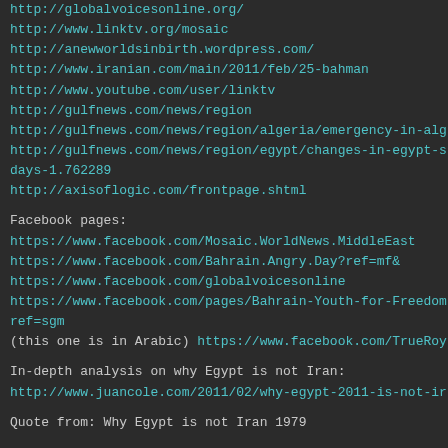http://globalvoicesonline.org/
http://www.linktv.org/mosaic
http://anewworldsinbirth.wordpress.com/
http://www.iranian.com/main/2011/feb/25-bahman
http://www.youtube.com/user/linktv
http://gulfnews.com/news/region
http://gulfnews.com/news/region/algeria/emergency-in-alg
http://gulfnews.com/news/region/egypt/changes-in-egypt-s days-1.762289
http://axisoflogic.com/frontpage.shtml
Facebook pages:
https://www.facebook.com/Mosaic.WorldNews.MiddleEast
https://www.facebook.com/Bahrain.Angry.Day?ref=mf&
https://www.facebook.com/globalvoicesonline
https://www.facebook.com/pages/Bahrain-Youth-for-Freedom ref=sgm
(this one is in Arabic) https://www.facebook.com/TrueRoy
In-depth analysis on why Egypt is not Iran:
http://www.juancole.com/2011/02/why-egypt-2011-is-not-ir
Quote from: Why Egypt is not Iran 1979